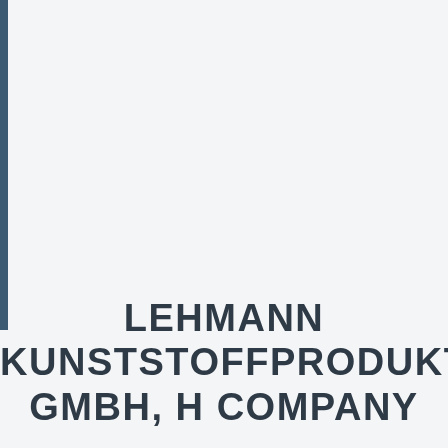[Figure (other): Dark steel-blue vertical bar on the left edge of the page, approximately 8px wide and 330px tall]
LEHMANN KUNSTSTOFFPRODUKTE GMBH, H COMPANY